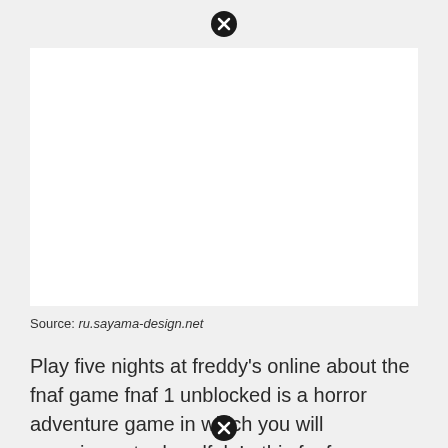[Figure (other): Close/dismiss button (circle with X) at top center of page]
[Figure (other): White rectangular image placeholder area]
Source: ru.sayama-design.net
Play five nights at freddy's online about the fnaf game fnaf 1 unblocked is a horror adventure game in which you will experience to dreadful. In this fnaf download collection, you will get access to various dlc mods with amazing challenges, missions, and.
[Figure (other): Close/dismiss button (circle with X) at bottom center of page]